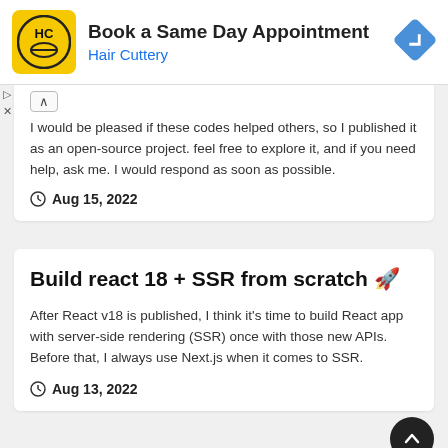[Figure (other): Hair Cuttery advertisement banner with logo and navigation arrow icon. Text: 'Book a Same Day Appointment' / 'Hair Cuttery']
I would be pleased if these codes helped others, so I published it as an open-source project. feel free to explore it, and if you need help, ask me. I would respond as soon as possible.
Aug 15, 2022
Build react 18 + SSR from scratch 🚀
After React v18 is published, I think it's time to build React app with server-side rendering (SSR) once with those new APIs. Before that, I always use Next.js when it comes to SSR.
Aug 13, 2022